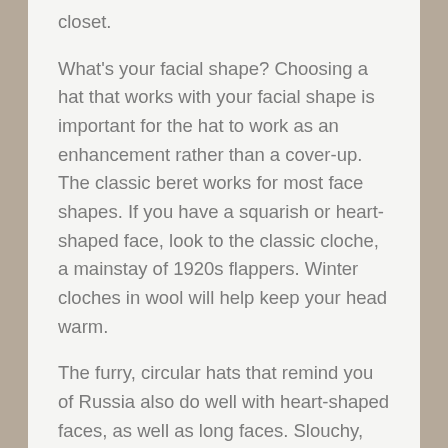closet.
What's your facial shape? Choosing a hat that works with your facial shape is important for the hat to work as an enhancement rather than a cover-up. The classic beret works for most face shapes. If you have a squarish or heart-shaped face, look to the classic cloche, a mainstay of 1920s flappers. Winter cloches in wool will help keep your head warm.
The furry, circular hats that remind you of Russia also do well with heart-shaped faces, as well as long faces. Slouchy, corded knit hats look great with round faces, but they can be versatile enough to work with most facial shapes.
Of course, making your hat part of your outfit helps with the hat-hair issue, and below are some tips on hairstyles that work with hats. But what if you need to